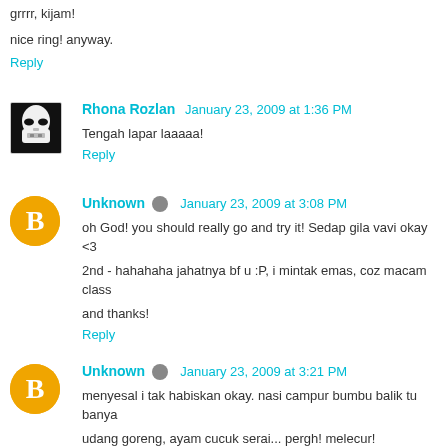grrrr, kijam!
nice ring! anyway.
Reply
Rhona Rozlan  January 23, 2009 at 1:36 PM
Tengah lapar laaaaa!
Reply
Unknown  January 23, 2009 at 3:08 PM
oh God! you should really go and try it! Sedap gila vavi okay <3
2nd - hahahaha jahatnya bf u :P, i mintak emas, coz macam class
and thanks!
Reply
Unknown  January 23, 2009 at 3:21 PM
menyesal i tak habiskan okay. nasi campur bumbu balik tu banya udang goreng, ayam cucuk serai... pergh! melecur!